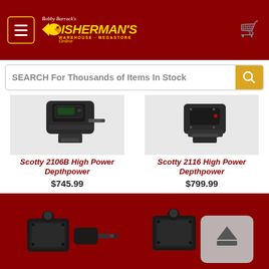[Figure (screenshot): E-commerce website header with dark red background, hamburger menu button, Fisherman's Warehouse logo, and shopping cart icon]
SEARCH For Thousands of Items In Stock
[Figure (photo): Scotty 2106B High Power Depthpower downrigger product photo]
Scotty 2106B High Power Depthpower
$745.99
[Figure (photo): Scotty 2116 High Power Depthpower downrigger product photo]
Scotty 2116 High Power Depthpower
$799.99
[Figure (photo): Scotty fishing rod holder/mount product photo, bottom left]
[Figure (photo): Scotty fishing rod holder/mount product photo, bottom right, with scroll-to-top button overlay]